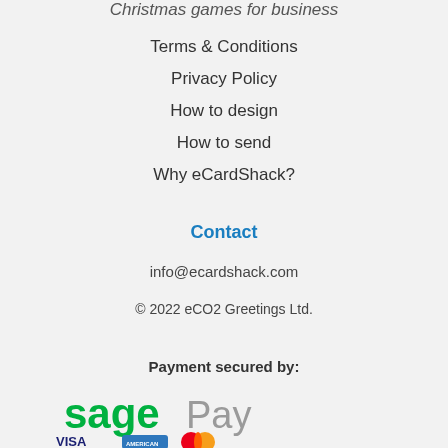Christmas games for business
Terms & Conditions
Privacy Policy
How to design
How to send
Why eCardShack?
Contact
info@ecardshack.com
© 2022 eCO2 Greetings Ltd.
Payment secured by:
[Figure (logo): Sage Pay logo in green and gray, followed by VISA, American Express, and Mastercard payment logos]